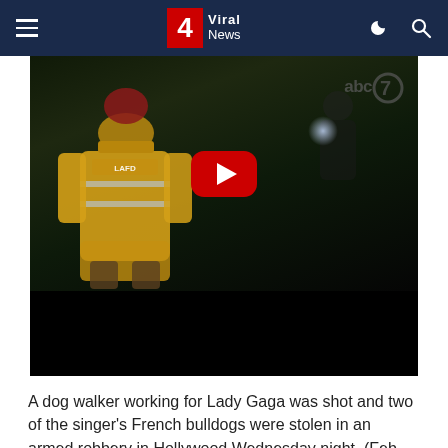4 Viral News
[Figure (screenshot): Video thumbnail showing a firefighter in yellow gear bending down at night scene, with ABC7 watermark in top right and a YouTube red play button in the center. Bottom portion is a black progress bar area.]
A dog walker working for Lady Gaga was shot and two of the singer's French bulldogs were stolen in an armed robbery in Hollywood Wednesday night. (Feb. 25)